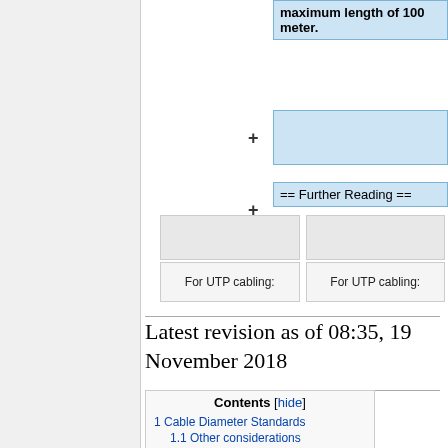[Figure (screenshot): Wikipedia diff/edit interface showing blue highlighted boxes with text 'maximum length of 100 meter.' and '== Further Reading ==' with plus signs, and gray boxes with 'For UTP cabling:' labels]
Latest revision as of 08:35, 19 November 2018
1 Cable Diameter Standards
1.1 Other considerations
2 Network Cabling
2.1 Shielding
3 Power over Ethernet